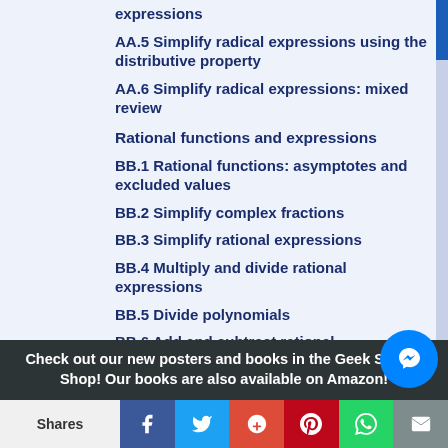expressions
AA.5 Simplify radical expressions using the distributive property
AA.6 Simplify radical expressions: mixed review
Rational functions and expressions
BB.1 Rational functions: asymptotes and excluded values
BB.2 Simplify complex fractions
BB.3 Simplify rational expressions
BB.4 Multiply and divide rational expressions
BB.5 Divide polynomials
BB.6 Add and subtract rational...
Check out our new posters and books in the Geek School Shop! Our books are also available on Amazon!
Shares